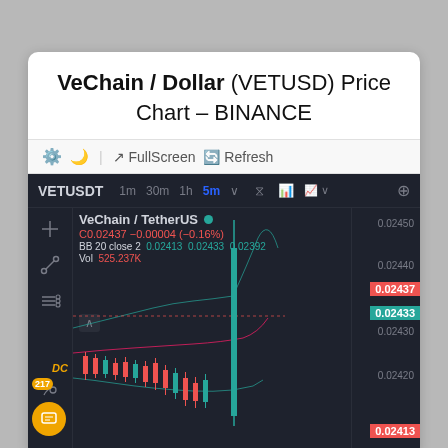VeChain / Dollar (VETUSD) Price Chart – BINANCE
[Figure (screenshot): TradingView candlestick chart widget for VETUSDT on BINANCE (5m timeframe). Shows VeChain/TetherUS price chart with Bollinger Bands and Volume indicator. Current price C0.02437, change -0.00004 (-0.16%). BB 20 close 2: 0.02413, 0.02433, 0.02392. Vol 525.237K. Price axis shows 0.02450, 0.02440, 0.02437 (red), 0.02433 (green/teal), 0.02430, 0.02420, 0.02413 (red). Toolbar shows gear, moon, fullscreen, refresh icons. Chart toolbar shows 1m, 30m, 1h, 5m (active/blue) timeframes and chart type icons.]